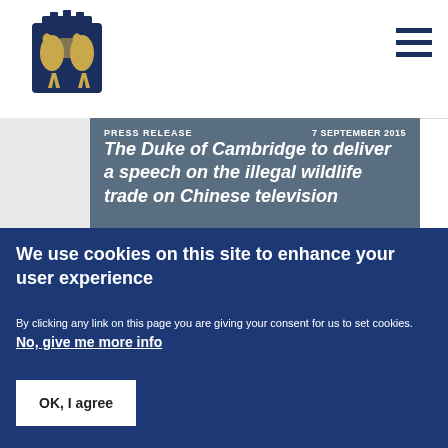[Figure (logo): UK Royal coat of arms / government crest in blue]
PRESS RELEASE  7 SEPTEMBER 2015
The Duke of Cambridge to deliver a speech on the illegal wildlife trade on Chinese television
Read more ▶
PRESS RELEASE  18 AUGUST 2015
We use cookies on this site to enhance your user experience
By clicking any link on this page you are giving your consent for us to set cookies. No, give me more info
OK, I agree